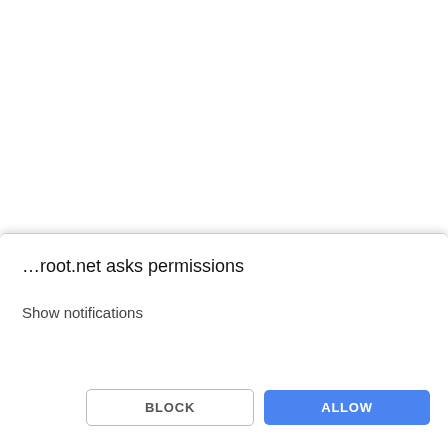Instructions for ZYKUFlasher from official site will give you the opportunity to update the firmware on Android or restore the smartphone from a brick state if it freezes when loading or does not
[Figure (screenshot): Browser permission dialog box from ...root.net asking for permissions to show notifications, with BLOCK and ALLOW buttons]